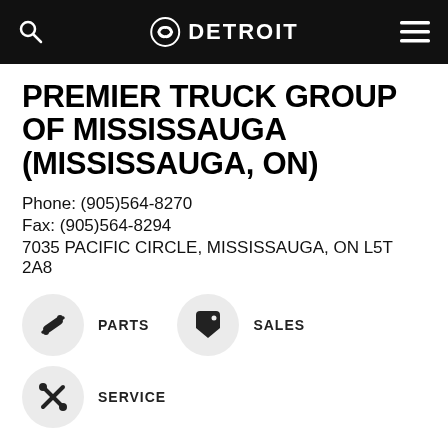Detroit (logo)
PREMIER TRUCK GROUP OF MISSISSAUGA (MISSISSAUGA, ON)
Phone: (905)564-8270
Fax: (905)564-8294
7035 PACIFIC CIRCLE, MISSISSAUGA, ON L5T 2A8
[Figure (illustration): Parts icon - wrench/tool symbol in circle]
PARTS
[Figure (illustration): Sales icon - price tag symbol in circle]
SALES
[Figure (illustration): Service icon - crossed wrench and screwdriver symbol in circle]
SERVICE